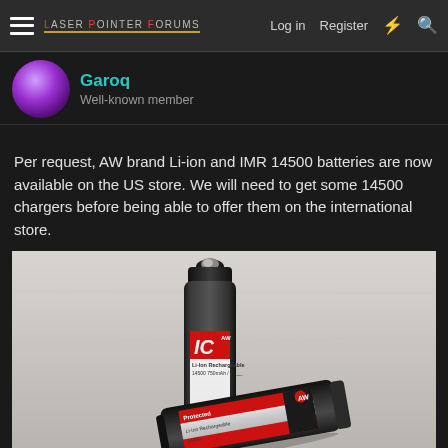Laser Pointer Forums — Log in  Register
Garoq
Well-known member
Per request, AW brand Li-ion and IMR 14500 batteries are now available on the US store. We will need to get some 14500 chargers before being able to offer them on the international store.
[Figure (photo): Two AW brand Li-ion 14500 rechargeable batteries (750mAh). One battery stands upright showing the label with 'IC' logo, and another lies on its side. Both have black caps with red and silver label on a light gray/white surface.]